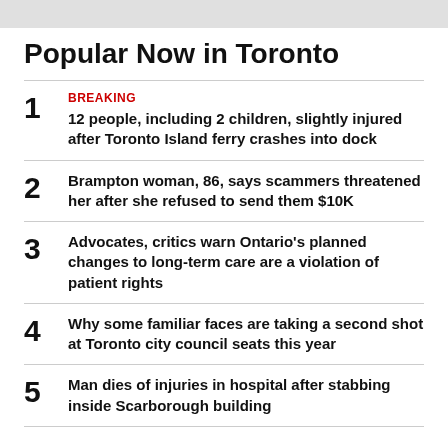Popular Now in Toronto
BREAKING — 12 people, including 2 children, slightly injured after Toronto Island ferry crashes into dock
Brampton woman, 86, says scammers threatened her after she refused to send them $10K
Advocates, critics warn Ontario's planned changes to long-term care are a violation of patient rights
Why some familiar faces are taking a second shot at Toronto city council seats this year
Man dies of injuries in hospital after stabbing inside Scarborough building